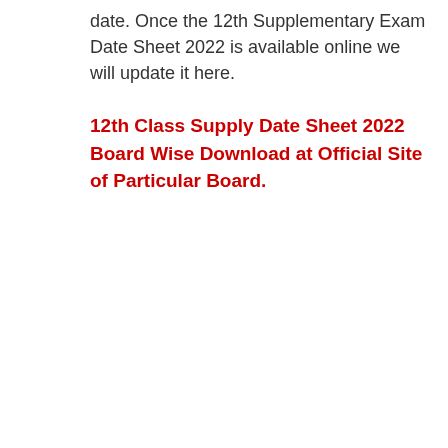date. Once the 12th Supplementary Exam Date Sheet 2022 is available online we will update it here.
12th Class Supply Date Sheet 2022 Board Wise Download at Official Site of Particular Board.